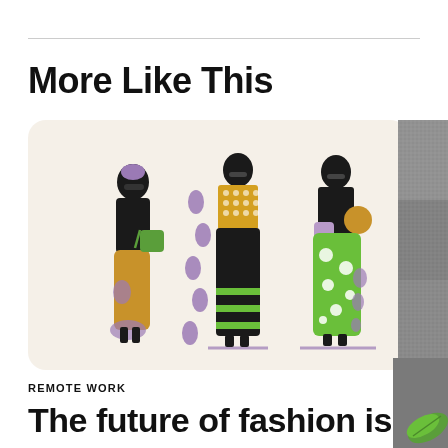More Like This
[Figure (illustration): Three illustrated fashion figures on a cream background with rounded corners. Left figure wears black top with mustard/yellow wide-leg pants, green bag, sunglasses, purple accents and purple oval dots nearby. Center figure wears yellow/white checked top and long black skirt with green horizontal stripes. Right figure wears black top with green polka-dot wide skirt and purple bag. Purple shadow lines beneath feet.]
[Figure (photo): Partial view of a grey textured fabric or stone surface on the right edge of the page, with a green leaf visible at bottom right.]
REMOTE WORK
The future of fashion is